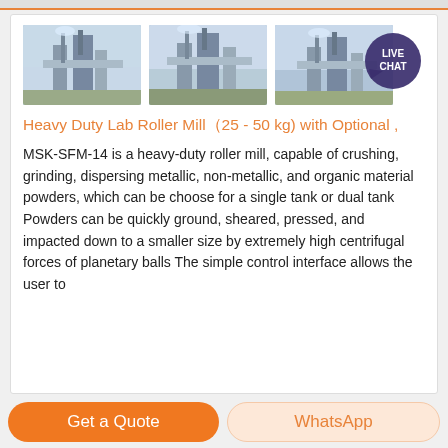[Figure (photo): Three industrial roller mill / plant machinery photos side by side, with a live chat bubble in top right corner]
Heavy Duty Lab Roller Mill（25 - 50 kg) with Optional ,
MSK-SFM-14 is a heavy-duty roller mill, capable of crushing, grinding, dispersing metallic, non-metallic, and organic material powders, which can be choose for a single tank or dual tank Powders can be quickly ground, sheared, pressed, and impacted down to a smaller size by extremely high centrifugal forces of planetary balls The simple control interface allows the user to
Get a Quote
WhatsApp